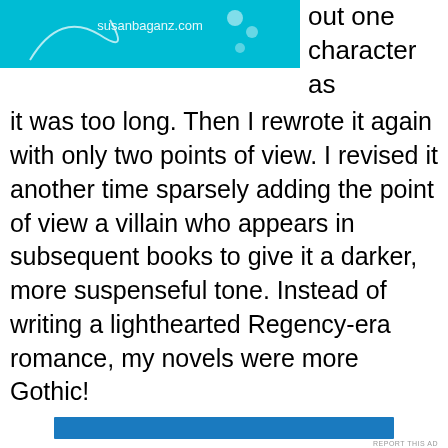[Figure (illustration): Teal/cyan banner with decorative circles and 'susanbaganz.com' text]
out one character as it was too long. Then I rewrote it again with only two points of view. I revised it another time sparsely adding the point of view a villain who appears in subsequent books to give it a darker, more suspenseful tone. Instead of writing a lighthearted Regency-era romance, my novels were more Gothic!
[Figure (other): Blue advertisement bar with REPORT THIS AD label]
Privacy & Cookies: This site uses cookies. By continuing to use this website, you agree to their use.
To find out more, including how to control cookies, see here: Cookie Policy
Sometimes I wonder if big sales have eluded me because